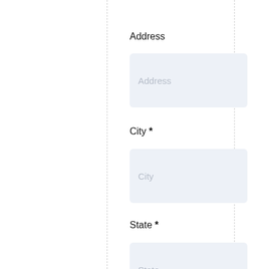Address
[Figure (screenshot): Input field with placeholder text 'Address']
City *
[Figure (screenshot): Input field with placeholder text 'City']
State *
[Figure (screenshot): Input field with placeholder text 'State']
Postal code *
[Figure (screenshot): Input field with placeholder text 'Postal Code']
Prove you're human!